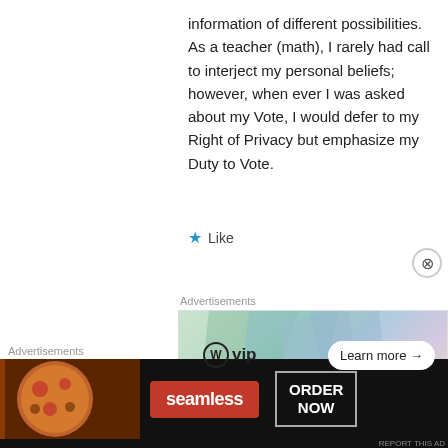information of different possibilities.
As a teacher (math), I rarely had call to interject my personal beliefs; however, when ever I was asked about my Vote, I would defer to my Right of Privacy but emphasize my Duty to Vote.
★ Like
Advertisements
[Figure (screenshot): WordPress VIP advertisement banner with Learn more arrow button]
REPORT THIS AD
Glenn Festog on September 24, 2016 at 4:13 PM
Advertisements
[Figure (screenshot): Seamless ORDER NOW advertisement banner with pizza image]